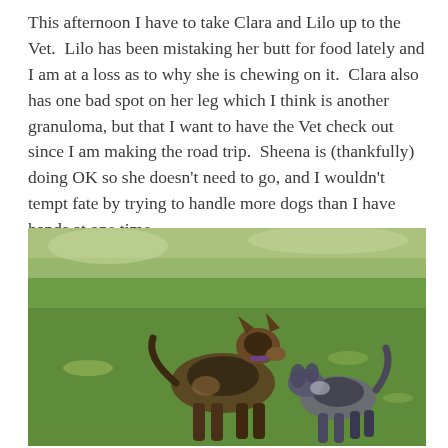This afternoon I have to take Clara and Lilo up to the Vet.  Lilo has been mistaking her butt for food lately and I am at a loss as to why she is chewing on it.  Clara also has one bad spot on her leg which I think is another granuloma, but that I want to have the Vet check out since I am making the road trip.  Sheena is (thankfully) doing OK so she doesn't need to go, and I wouldn't tempt fate by trying to handle more dogs than I have hands at one time.
[Figure (photo): Two dogs (a large German Shepherd and a smaller dog) playing on a green grassy lawn with trees in the background.]